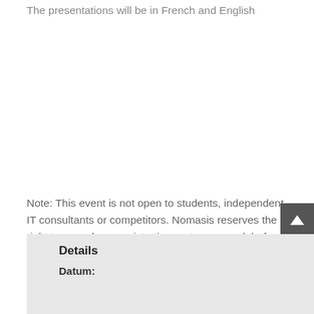The presentations will be in French and English
Note: This event is not open to students, independent IT consultants or competitors. Nomasis reserves the right to cancel any registration up to one week before the event.
Details
Datum: